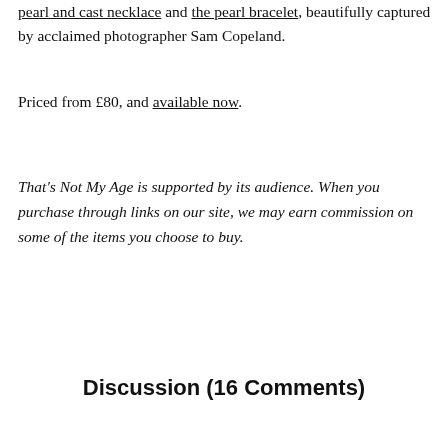pearl and cast necklace and the pearl bracelet, beautifully captured by acclaimed photographer Sam Copeland.
Priced from £80, and available now.
That's Not My Age is supported by its audience. When you purchase through links on our site, we may earn commission on some of the items you choose to buy.
Discussion (16 Comments)